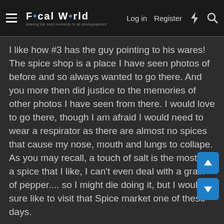Focal World — Log in  Register
I like how #3 has the guy pointing to his wares! The spice shop is a place I have seen photos of before and so always wanted to go there. And you more then did justice to the memories of other photos I have seen from there. I would love to go there, though I am afraid I would need to wear a respirator as there are almost no spices that cause my nose, mouth and lungs to collape. As you may recall, a touch of salt is the most of a spice that I like, I can't even deal with a grain of pepper.... so I might die doing it, but I would sure like to visit that Spice market one of these days.
And what a cool metal shop. You didn't find Aladdin's Lamp I guess? You should have rubbed every pot in there! 🙂
You were able to get a rug and ship it back here to the states? That's so cool!
Please keep posting more photos from that trip as you process them. It's so awesome to see, and give some of us a grand